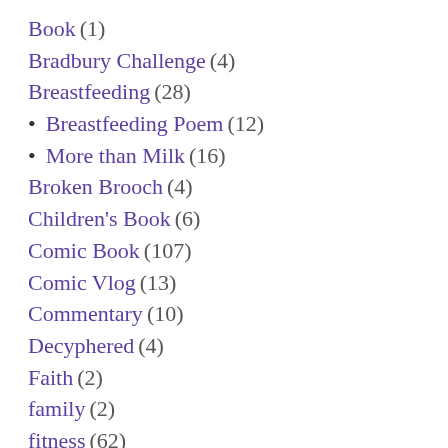Book (1)
Bradbury Challenge (4)
Breastfeeding (28)
Breastfeeding Poem (12)
More than Milk (16)
Broken Brooch (4)
Children's Book (6)
Comic Book (107)
Comic Vlog (13)
Commentary (10)
Decyphered (4)
Faith (2)
family (2)
fitness (62)
Flash Fiction (16)
Glowbug (6)